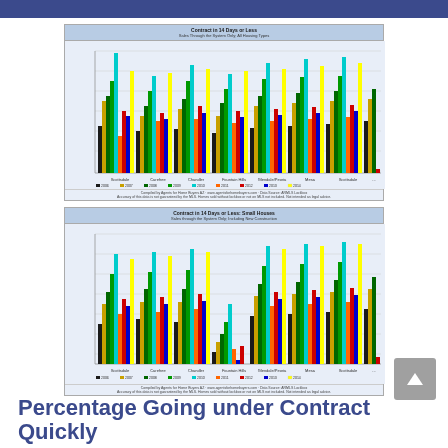[Figure (grouped-bar-chart): Grouped bar chart showing contracts in 14 days or less across multiple regions and years, all housing types]
[Figure (grouped-bar-chart): Grouped bar chart showing contracts in 14 days or less for small houses across multiple regions and years]
Percentage Going under Contract Quickly